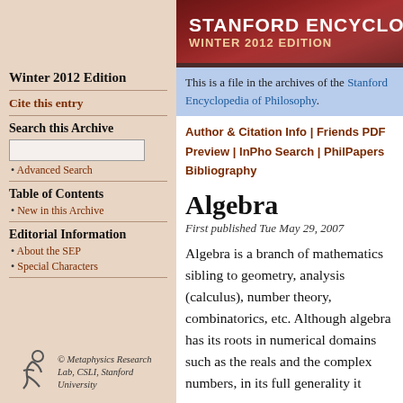Stanford Encyclopedia of Philosophy — Winter 2012 Edition
Winter 2012 Edition
Cite this entry
Search this Archive
• Advanced Search
Table of Contents
• New in this Archive
Editorial Information
• About the SEP
• Special Characters
[Figure (logo): Metaphysics Research Lab logo with stylized figure]
© Metaphysics Research Lab, CSLI, Stanford University
This is a file in the archives of the Stanford Encyclopedia of Philosophy.
Author & Citation Info | Friends PDF Preview | InPho Search | PhilPapers Bibliography
Algebra
First published Tue May 29, 2007
Algebra is a branch of mathematics sibling to geometry, analysis (calculus), number theory, combinatorics, etc. Although algebra has its roots in numerical domains such as the reals and the complex numbers, in its full generality it